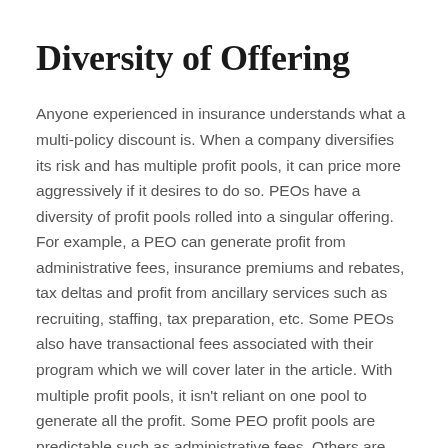Diversity of Offering
Anyone experienced in insurance understands what a multi-policy discount is. When a company diversifies its risk and has multiple profit pools, it can price more aggressively if it desires to do so. PEOs have a diversity of profit pools rolled into a singular offering. For example, a PEO can generate profit from administrative fees, insurance premiums and rebates, tax deltas and profit from ancillary services such as recruiting, staffing, tax preparation, etc. Some PEOs also have transactional fees associated with their program which we will cover later in the article. With multiple profit pools, it isn't reliant on one pool to generate all the profit. Some PEO profit pools are predictable such as administrative fees. Others are not, such as insurances (claims) and taxes (unemployment). When a company has a diversity of